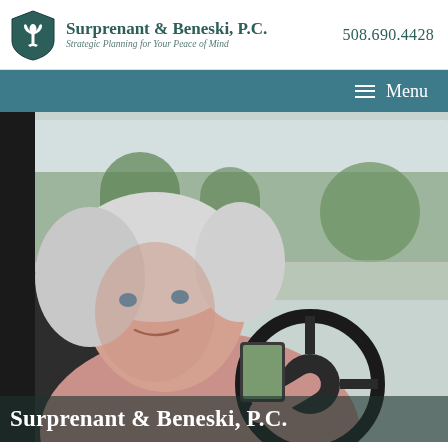Surprenant & Beneski, P.C. | Strategic Planning for Your Peace of Mind | 508.690.4428
≡ Menu
[Figure (photo): Elderly woman with white hair sitting in the driver's seat of a car, smiling at the camera while holding the steering wheel. Background shows trees and a road through the car window.]
Surprenant & Beneski, P.C.